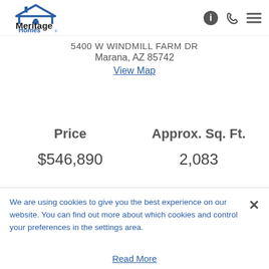[Figure (logo): Meritage Homes logo with house icon above text]
5400 W WINDMILL FARM DR
Marana, AZ 85742
View Map
Price
$546,890
Approx. Sq. Ft.
2,083
We are using cookies to give you the best experience on our website. You can find out more about which cookies and control your preferences in the settings area.
Read More